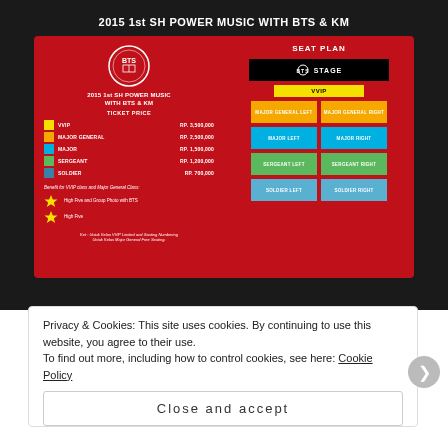[Figure (infographic): Concert ticket price infographic for 2015 1st SH POWER MUSIC WITH BTS & KM showing a red booklet with ticket prices on the left page (VVIP RP.3,500,000; MAJOR GENERAL RP.2,500,000; MAJOR RP.1,500,000; SERGEANT RP.1,200,000; SOLDIER RP.700,000) and seat plan on the right page showing STAGE, VVIP, MAJOR GENERAL LEFT/RIGHT, MAJOR LEFT/RIGHT, SERGEANT LEFT/RIGHT, SOLDIER LEFT/RIGHT sections.]
2015 1st SH POWER MUSIC WITH BTS & KM
Privacy & Cookies: This site uses cookies. By continuing to use this website, you agree to their use.
To find out more, including how to control cookies, see here: Cookie Policy
Close and accept